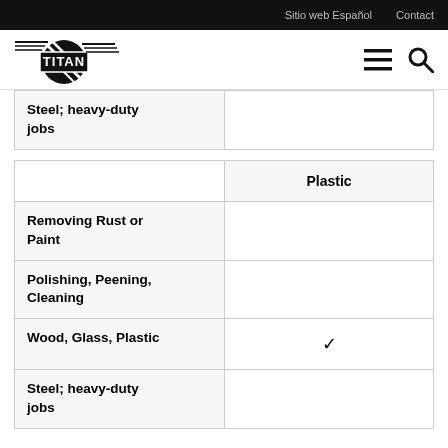Sitio web Español   Contact
[Figure (logo): TITAN logo with diagonal lines through a circle, black and white]
|  |  |
| --- | --- |
| Steel; heavy-duty jobs |  |
|  | Plastic |
| --- | --- |
| Removing Rust or Paint |  |
| Polishing, Peening, Cleaning |  |
| Wood, Glass, Plastic | ✓ |
| Steel; heavy-duty jobs |  |